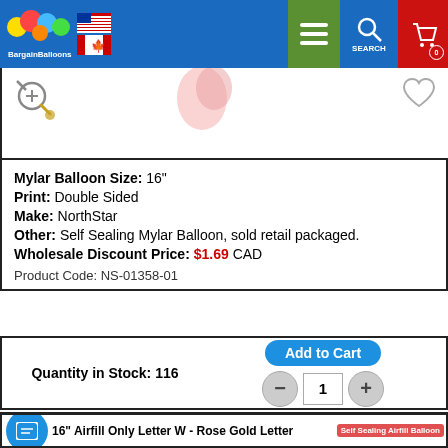BargainBalloons
Mylar Balloon Size: 16"
Print: Double Sided
Make: NorthStar
Other: Self Sealing Mylar Balloon, sold retail packaged.
Wholesale Discount Price: $1.69 CAD
Product Code: NS-01358-01
Quantity in Stock: 116
16" Airfill Only Letter W - Rose Gold Letter